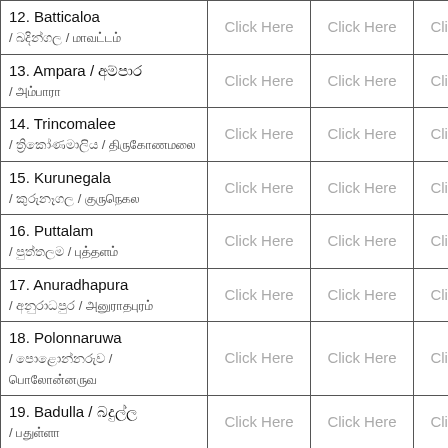| District | Column 2 | Column 3 | Column 4 |
| --- | --- | --- | --- |
| 12. Batticaloa / ග්රය / மாவட்டம் | Click Here | Click Here | Click Here |
| 13. Ampara / කලාප / அம்பாரா | Click Here | Click Here | Click Here |
| 14. Trincomalee / ත්රිංකොමාලි / திருகோணமலை | Click Here | Click Here | Click Here |
| 15. Kurunegala / කුරුණේගල / குருநெகல | Click Here | Click Here | Click Here |
| 16. Puttalam / පුත්තලම් / புத்தளம் | Click Here | Click Here | Click Here |
| 17. Anuradhapura / අනුරාදපුර / அனுராதபுரம் | Click Here | Click Here | Click Here |
| 18. Polonnaruwa / පොලොන්නරුව / போலோன்னருவ | Click Here | Click Here | Click Here |
| 19. Badulla / බදුල්ල / பதுள்ளா | Click Here | Click Here | Click Here |
| 20. Moneragalla / මොනරාගල / மோனராகல | Click Here | Click Here | Click Here |
| 21. Rathnapura / රත්නපුර / ரத்தினபுரம் | Click Here | Click Here | Click Here |